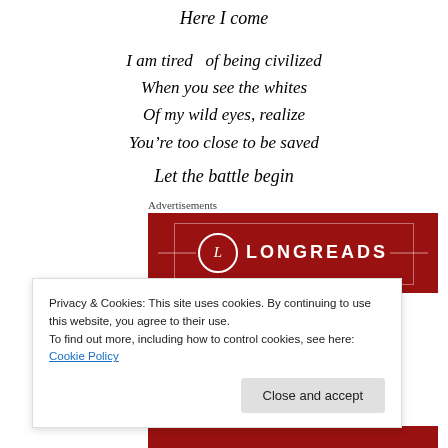Here I come
I am tired  of being civilized
When you see the whites
Of my wild eyes, realize
You’re too close to be saved
Let the battle begin
Advertisements
[Figure (logo): Longreads advertisement banner with red background, circular L logo, and LONGREADS text in white]
Privacy & Cookies: This site uses cookies. By continuing to use this website, you agree to their use.
To find out more, including how to control cookies, see here: Cookie Policy
Close and accept